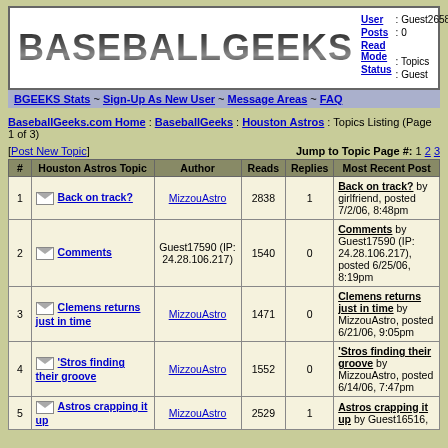[Figure (logo): BASEBALLGEEKS logo text in dark metallic style]
User : Guest26585
Posts : 0
Read Mode
Status : Guest
BGEEKS Stats ~ Sign-Up As New User ~ Message Areas ~ FAQ
BaseballGeeks.com Home : BaseballGeeks : Houston Astros : Topics Listing (Page 1 of 3)
[Post New Topic]  Jump to Topic Page #: 1 2 3
| # | Houston Astros Topic | Author | Reads | Replies | Most Recent Post |
| --- | --- | --- | --- | --- | --- |
| 1 | Back on track? | MizzouAstro | 2838 | 1 | Back on track? by girlfriend, posted 7/2/06, 8:48pm |
| 2 | Comments | Guest17590 (IP: 24.28.106.217) | 1540 | 0 | Comments by Guest17590 (IP: 24.28.106.217), posted 6/25/06, 8:19pm |
| 3 | Clemens returns just in time | MizzouAstro | 1471 | 0 | Clemens returns just in time by MizzouAstro, posted 6/21/06, 9:05pm |
| 4 | 'Stros finding their groove | MizzouAstro | 1552 | 0 | 'Stros finding their groove by MizzouAstro, posted 6/14/06, 7:47pm |
| 5 | Astros crapping it up | MizzouAstro | 2529 | 1 | Astros crapping it up by Guest16516, |